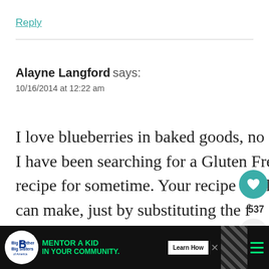Reply
Alayne Langford says:
10/16/2014 at 12:22 am
I love blueberries in baked goods, no doubt! I have been searching for a Gluten Free recipe for sometime. Your recipe I believe can make, just by substituting the [flour] my GF flour. Oh I hope it turns out just as
[Figure (screenshot): Advertisement banner: Big Brothers Big Sisters - Mentor a Kid in Your Community with Learn How button]